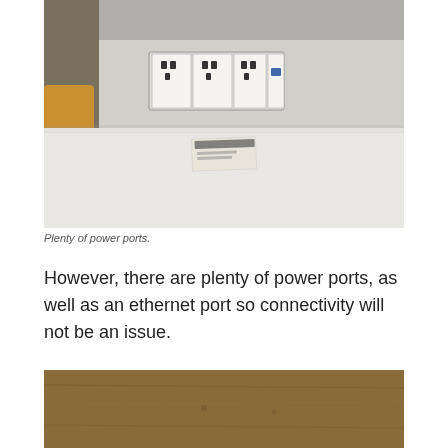[Figure (photo): Photo of a wall-mounted power socket panel with multiple UK 3-pin power outlets and an ethernet port, above a white desk surface. A small card/sign is visible on the desk.]
Plenty of power ports.
However, there are plenty of power ports, as well as an ethernet port so connectivity will not be an issue.
[Figure (photo): Partial photo of a wooden surface (bottom of page, cropped).]